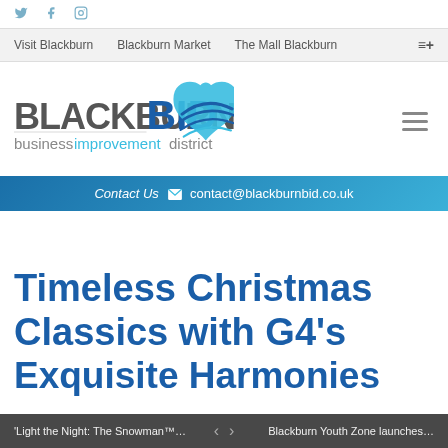Social icons: Twitter, Facebook, Instagram
Visit Blackburn | Blackburn Market | The Mall Blackburn | ≡+
[Figure (logo): Blackburn BID - business improvement district logo with blue swoosh heart design]
Contact Us ✉ contact@blackburnbid.co.uk
Timeless Christmas Classics with G4's Exquisite Harmonies
'Light the Night: The Snowman™... < > Blackburn Youth Zone launches...